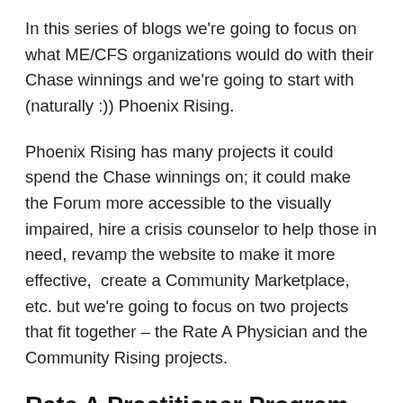In this series of blogs we're going to focus on what ME/CFS organizations would do with their Chase winnings and we're going to start with (naturally :)) Phoenix Rising.
Phoenix Rising has many projects it could spend the Chase winnings on; it could make the Forum more accessible to the visually impaired, hire a crisis counselor to help those in need, revamp the website to make it more effective,  create a Community Marketplace, etc. but we're going to focus on two projects that fit together – the Rate A Physician and the Community Rising projects.
Rate A Practitioner Program